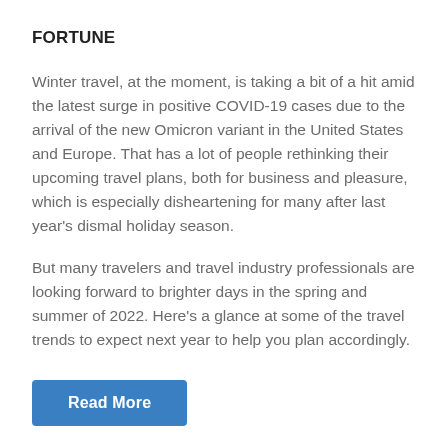FORTUNE
Winter travel, at the moment, is taking a bit of a hit amid the latest surge in positive COVID-19 cases due to the arrival of the new Omicron variant in the United States and Europe. That has a lot of people rethinking their upcoming travel plans, both for business and pleasure, which is especially disheartening for many after last year's dismal holiday season.
But many travelers and travel industry professionals are looking forward to brighter days in the spring and summer of 2022. Here's a glance at some of the travel trends to expect next year to help you plan accordingly.
Read More